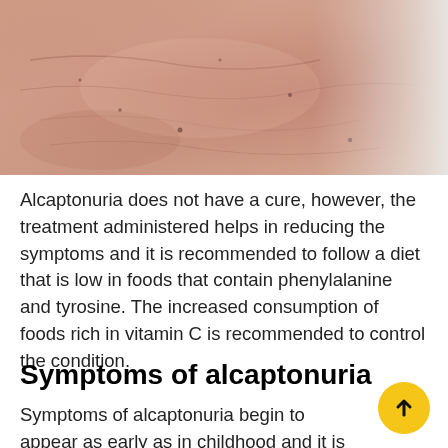[Figure (photo): Close-up photograph of human skin on a face/neck area showing skin texture and pigmentation, likely showing signs of alcaptonuria (ochronosis).]
Alcaptonuria does not have a cure, however, the treatment administered helps in reducing the symptoms and it is recommended to follow a diet that is low in foods that contain phenylalanine and tyrosine. The increased consumption of foods rich in vitamin C is recommended to control the condition.
Symptoms of alcaptonuria
Symptoms of alcaptonuria begin to appear as early as in childhood and it is characterized by a darker urine and the appearance of spots on the skin and ears. However, some people may become asymptomatic and the symptoms w only show from the age of 40. This will in turn make